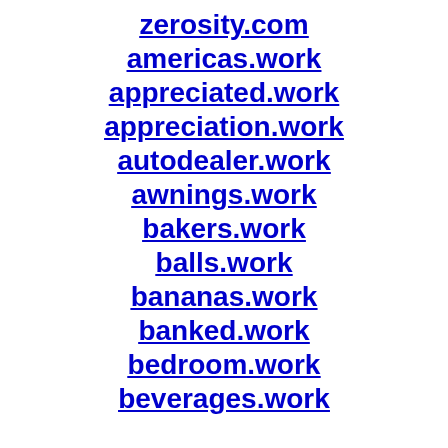zerosity.com
americas.work
appreciated.work
appreciation.work
autodealer.work
awnings.work
bakers.work
balls.work
bananas.work
banked.work
bedroom.work
beverages.work